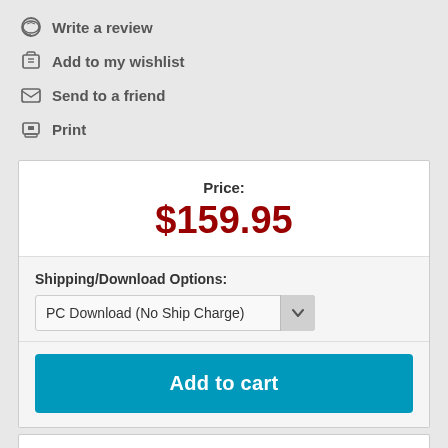Write a review
Add to my wishlist
Send to a friend
Print
Price:
$159.95
Shipping/Download Options:
PC Download (No Ship Charge)
Add to cart